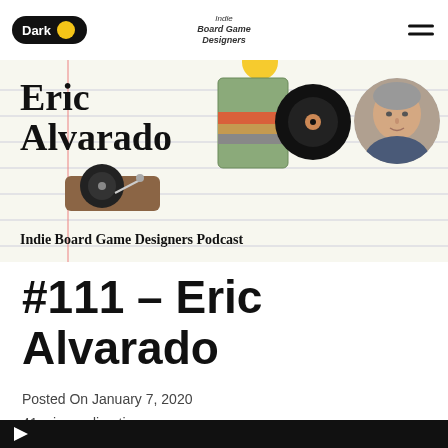Dark | Indie Board Game Designers
[Figure (illustration): Banner image for the Indie Board Game Designers Podcast featuring 'Eric Alvarado' in handwritten-style text on notebook paper background, with a record player, vinyl records, and a circular portrait photo of Eric Alvarado (middle-aged man with short gray hair). Text reads: Indie Board Game Designers Podcast]
#111 – Eric Alvarado
Posted On January 7, 2020
41 min reading time
[Figure (other): Dark audio player bar at the bottom of the page with a play button]